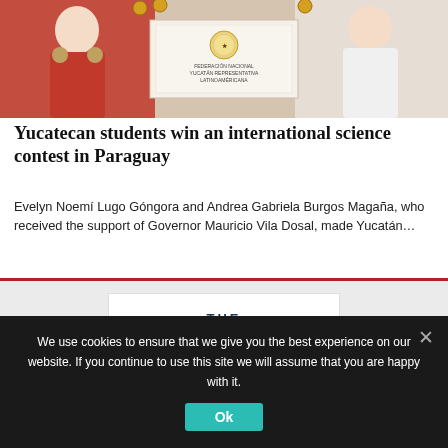[Figure (photo): Students in red shirts holding medals, with a sign/certificate visible in the center, standing together for a group photo]
Yucatecan students win an international science contest in Paraguay
Evelyn Noemí Lugo Góngora and Andrea Gabriela Burgos Magaña, who received the support of Governor Mauricio Vila Dosal, made Yucatán…
[Figure (logo): The Yucatan Times logo — 'THE Yucatan TIMES News you can rely on' in teal/dark navy lettering]
Home   Contact Us   Headlines   Local News
We use cookies to ensure that we give you the best experience on our website. If you continue to use this site we will assume that you are happy with it.